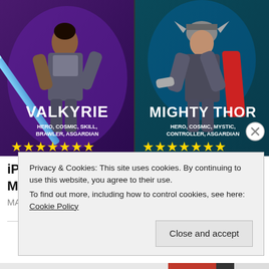[Figure (illustration): Marvel game advertisement showing two characters: Valkyrie on the left (HERO, COSMIC, SKILL, BRAWLER, ASGARDIAN) with 7 gold stars, and Mighty Thor on the right (HERO, COSMIC, MYSTIC, CONTROLLER, ASGARDIAN) with 7 gold stars. Both characters are in action poses against colorful backgrounds.]
iPhone owners are obsessed with this Marvel game
MARVEL Strike Force
Privacy & Cookies: This site uses cookies. By continuing to use this website, you agree to their use.
To find out more, including how to control cookies, see here: Cookie Policy
Close and accept